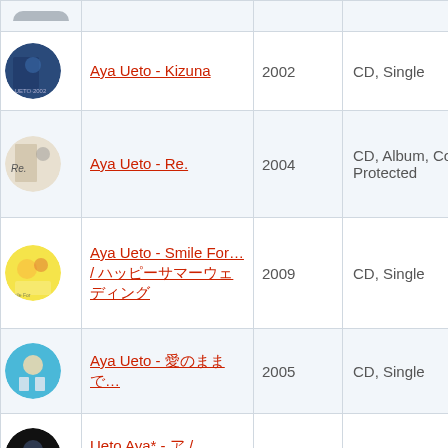| Image | Title | Year | Format |
| --- | --- | --- | --- |
| [image] | Aya Ueto - Kizuna | 2002 | CD, Single |
| [image] | Aya Ueto - Re. | 2004 | CD, Album, Copy Protected |
| [image] | Aya Ueto - Smile For… / ハッピーサマーウェディング | 2009 | CD, Single |
| [image] | Aya Ueto - 愛のままで… | 2005 | CD, Single |
| [image] | Ueto Aya* - ア / Mermaid | 2003 | CD, Maxi-Single |
| [image] | Aya Ueto - Happy Magic ハッピーマジックだよ！ | 2009 | CD, Album |